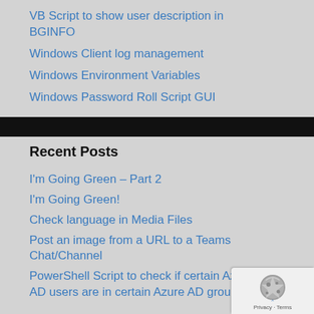VB Script to show user description in BGINFO
Windows Client log management
Windows Environment Variables
Windows Password Roll Script GUI
Recent Posts
I'm Going Green – Part 2
I'm Going Green!
Check language in Media Files
Post an image from a URL to a Teams Chat/Channel
PowerShell Script to check if certain Azure AD users are in certain Azure AD groups